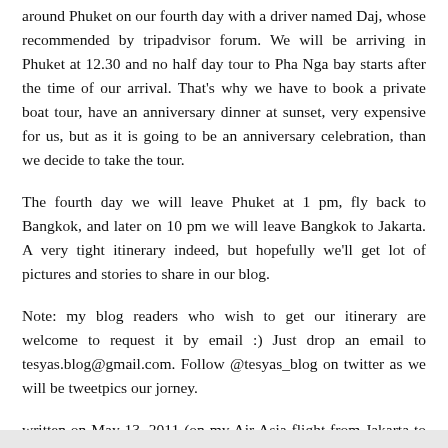around Phuket on our fourth day with a driver named Daj, whose recommended by tripadvisor forum. We will be arriving in Phuket at 12.30 and no half day tour to Pha Nga bay starts after the time of our arrival. That's why we have to book a private boat tour, have an anniversary dinner at sunset, very expensive for us, but as it is going to be an anniversary celebration, than we decide to take the tour.
The fourth day we will leave Phuket at 1 pm, fly back to Bangkok, and later on 10 pm we will leave Bangkok to Jakarta. A very tight itinerary indeed, but hopefully we'll get lot of pictures and stories to share in our blog.
Note: my blog readers who wish to get our itinerary are welcome to request it by email :) Just drop an email to tesyas.blog@gmail.com. Follow @tesyas_blog on twitter as we will be tweetpics our jorney.
written on May 13, 2011 (on my Air Asia flight from Jakarta to Bangkok)